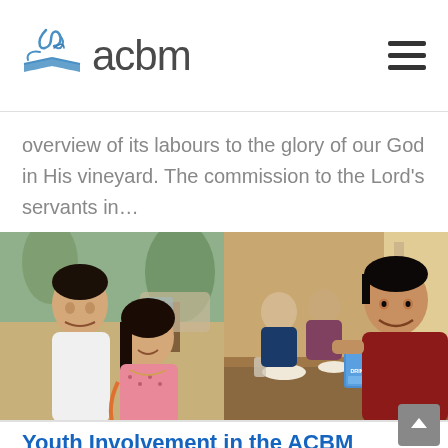acbm
overview of its labours to the glory of our God in His vineyard. The commission to the Lord's servants in…
[Figure (photo): Two young people smiling outdoors near trees and a vehicle; a young man in a white shirt and a young woman in a pink patterned top.]
[Figure (photo): Group of young people seated around a table in a restaurant; a young man in a red shirt is prominently smiling, holding a menu that reads 'It's Drinkilicious'.]
Youth Involvement in the ACBM